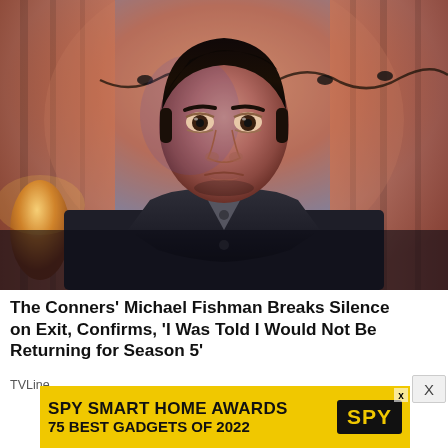[Figure (photo): A man with dark hair wearing a dark jacket over a grey shirt, sitting indoors with orange/pink curtains in the background and halloween garland decorations. The scene has dramatic purple/dark lighting.]
The Conners' Michael Fishman Breaks Silence on Exit, Confirms, 'I Was Told I Would Not Be Returning for Season 5'
TVLine
[Figure (screenshot): Advertisement banner: SPY SMART HOME AWARDS 75 BEST GADGETS OF 2022 with SPY logo on yellow background]